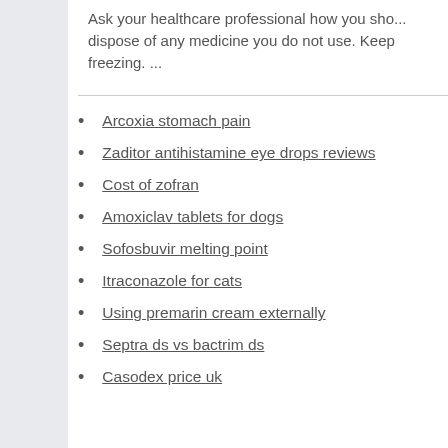Ask your healthcare professional how you should dispose of any medicine you do not use. Keep freezing. ...
Arcoxia stomach pain
Zaditor antihistamine eye drops reviews
Cost of zofran
Amoxiclav tablets for dogs
Sofosbuvir melting point
Itraconazole for cats
Using premarin cream externally
Septra ds vs bactrim ds
Casodex price uk